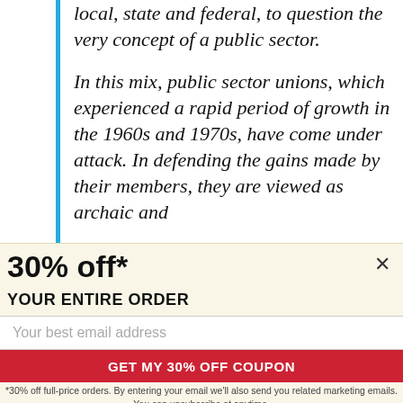local, state and federal, to question the very concept of a public sector.
In this mix, public sector unions, which experienced a rapid period of growth in the 1960s and 1970s, have come under attack. In defending the gains made by their members, they are viewed as archaic and
30% off*
YOUR ENTIRE ORDER
Your best email address
GET MY 30% OFF COUPON
*30% off full-price orders. By entering your email we'll also send you related marketing emails. You can unsubscribe at anytime.